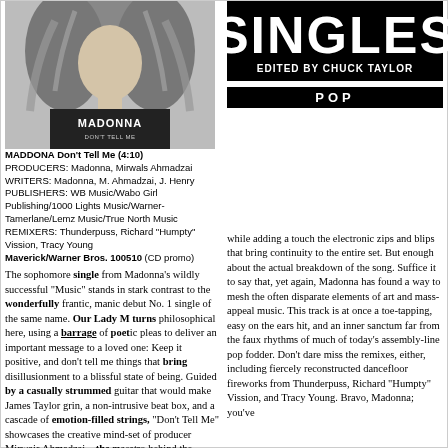[Figure (photo): Photo of Madonna wearing a black Madonna Don't Tell Me t-shirt, with flowing blonde hair]
SINGLES EDITED BY CHUCK TAYLOR
POP
MADONNA Don't Tell Me (4:10)
PRODUCERS: Madonna, Mirwals Ahmadzai
WRITERS: Madonna, M. Ahmadzai, J. Henry
PUBLISHERS: WB Music/Wabo Girl Publishing/1000 Lights Music/Warner-Tamerlane/Lemz Music/True North Music
REMIXERS: Thunderpuss, Richard "Humpty" Vission, Tracy Young
Maverick/Warner Bros. 100510 (CD promo)
The sophomore single from Madonna's wildly successful "Music" stands in stark contrast to the wonderfully frantic, manic debut No. 1 single of the same name. Our Lady M turns philosophical here, using a barrage of poetic pleas to deliver an important message to a loved one: Keep it positive, and don't tell me things that bring disillusionment to a blissful state of being. Guided by a casually strummed guitar that would make James Taylor grin, a non-intrusive beat box, and a cascade of emotion-filled strings, "Don't Tell Me" showcases the creative mind-set of producer Mirwais Ahmadzai—the maestro behind the magic of "Music"—who blends while adding a touch the electronic zips and blips that bring continuity to the entire set. But enough about the actual breakdown of the song. Suffice it to say that, yet again, Madonna has found a way to mesh the often disparate elements of art and mass-appeal music. This track is at once a toe-tapping, easy on the ears hit, and an inner sanctum far from the faux rhythms of much of today's assembly-line pop fodder. Don't dare miss the remixes, either, including fiercely reconstructed dancefloor fireworks from Thunderpuss, Richard "Humpty" Vission, and Tracy Young. Bravo, Madonna; you've